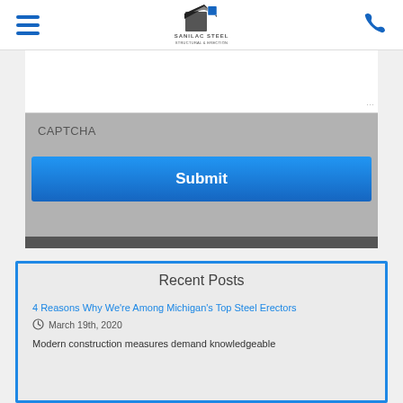Sanilac Steel — navigation bar with hamburger menu, logo, and phone icon
[Figure (screenshot): CAPTCHA section of a contact form with a textarea, CAPTCHA label, and a blue Submit button on a gray background]
Recent Posts
4 Reasons Why We're Among Michigan's Top Steel Erectors
March 19th, 2020
Modern construction measures demand knowledgeable